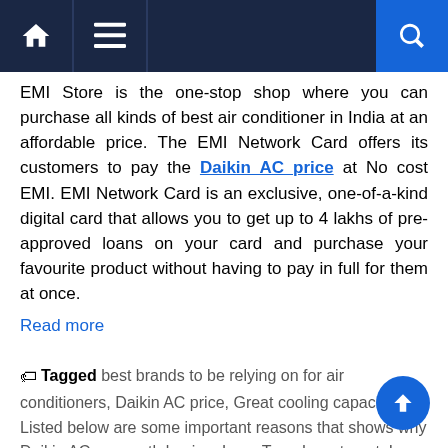Navigation bar with home, menu, and search icons
EMI Store is the one-stop shop where you can purchase all kinds of best air conditioner in India at an affordable price. The EMI Network Card offers its customers to pay the Daikin AC price at No cost EMI. EMI Network Card is an exclusive, one-of-a-kind digital card that allows you to get up to 4 lakhs of pre-approved loans on your card and purchase your favourite product without having to pay in full for them at once.
Read more
Tagged best brands to be relying on for air conditioners, Daikin AC price, Great cooling capacity, Listed below are some important reasons that shows why Daikin AC are worth buying, Long Term Investment, Low Maintenance costs, provide best cooling inside